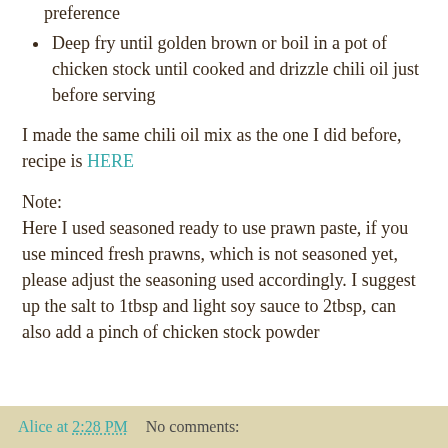preference
Deep fry until golden brown or boil in a pot of chicken stock until cooked and drizzle chili oil just before serving
I made the same chili oil mix as the one I did before, recipe is HERE
Note:
Here I used seasoned ready to use prawn paste, if you use minced fresh prawns, which is not seasoned yet, please adjust the seasoning used accordingly. I suggest up the salt to 1tbsp and light soy sauce to 2tbsp, can also add a pinch of chicken stock powder
Alice at 2:28 PM    No comments: